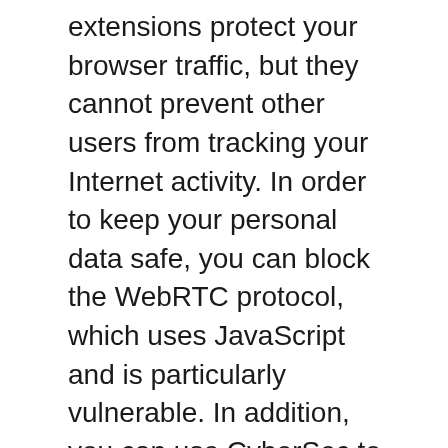extensions protect your browser traffic, but they cannot prevent other users from tracking your Internet activity. In order to keep your personal data safe, you can block the WebRTC protocol, which uses JavaScript and is particularly vulnerable. In addition, you can use CyberSec to encrypt the browser connection between you and your VPN. This feature is available on every NordVPN server.
NordVPN is based in Panama and claims to have 12 million users worldwide. The company is run by four childhood friends, and was founded in 2012. The VPN service has grown from a nerdy hobby to a mainstream tool for privacy and data encryption. NordVPN's goal to make the